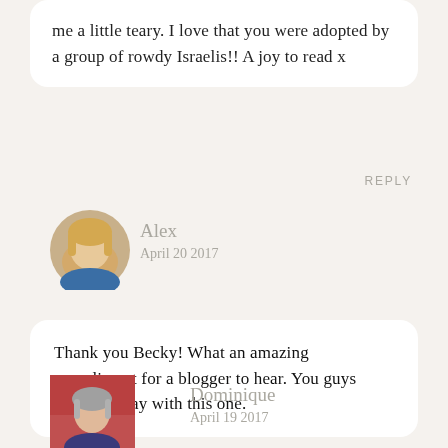me a little teary. I love that you were adopted by a group of rowdy Israelis!! A joy to read x
REPLY
Alex
April 20 2017
Thank you Becky! What an amazing compliment for a blogger to hear. You guys made my day with this one.
REPLY
Dominique
April 19 2017